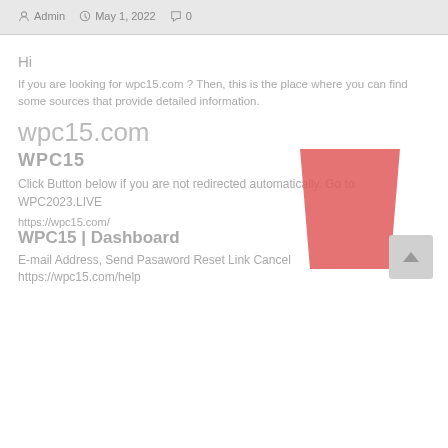Admin  May 1, 2022  0
Hi
If you are looking for wpc15.com ? Then, this is the place where you can find some sources that provide detailed information.
wpc15.com
WPC15
[Figure (illustration): A red/coral trapezoid shape (wider at top, narrower at bottom)]
Click Button below if you are not redirected automatically. Go to WPC2023.LIVE
https://wpc15.com/
WPC15 | Dashboard
E-mail Address, Send Pasaword Reset Link Cancel
https://wpc15.com/help